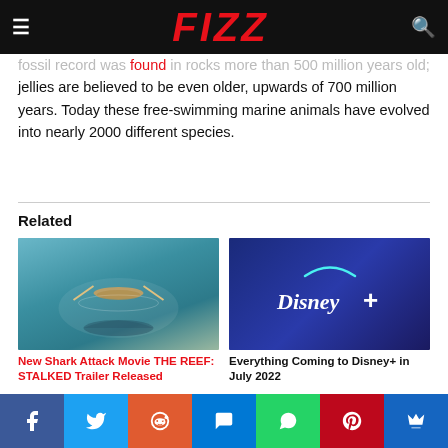FIZZ
fossil record was found in rocks more than 500 million years old; jellies are believed to be even older, upwards of 700 million years. Today these free-swimming marine animals have evolved into nearly 2000 different species.
Related
[Figure (photo): Shark attack scene from above water with a person in a kayak]
New Shark Attack Movie THE REEF: STALKED Trailer Released
[Figure (logo): Disney+ logo on dark blue/purple gradient background]
Everything Coming to Disney+ in July 2022
[Figure (photo): Partial thumbnail of a third related article showing green foliage]
Facebook Twitter Reddit Messenger WhatsApp Pinterest Crown